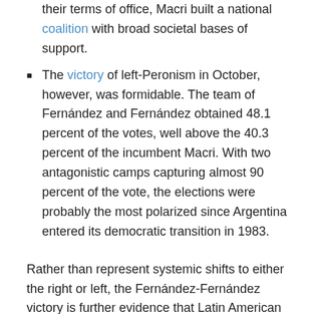their terms of office, Macri built a national coalition with broad societal bases of support.
The victory of left-Peronism in October, however, was formidable. The team of Fernández and Fernández obtained 48.1 percent of the votes, well above the 40.3 percent of the incumbent Macri. With two antagonistic camps capturing almost 90 percent of the vote, the elections were probably the most polarized since Argentina entered its democratic transition in 1983.
Rather than represent systemic shifts to either the right or left, the Fernández-Fernández victory is further evidence that Latin American electoral politics follow a routine alternation-of-power explained by retrospective, anti-incumbency voting driven by broad societal discontent — a sharp repudiation of incumbents that couldn't deliver growth, adequate social services, and security. The left-